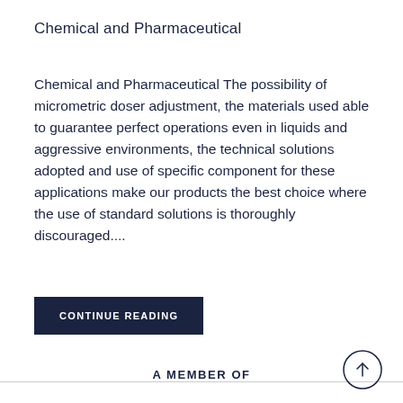Chemical and Pharmaceutical
Chemical and Pharmaceutical The possibility of micrometric doser adjustment, the materials used able to guarantee perfect operations even in liquids and aggressive environments, the technical solutions adopted and use of specific component for these applications make our products the best choice where the use of standard solutions is thoroughly discouraged....
CONTINUE READING
A MEMBER OF